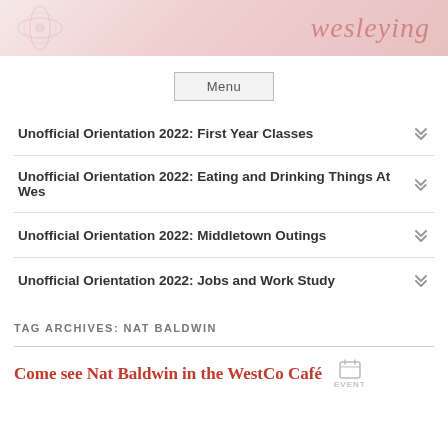[Figure (illustration): Website header banner with floral decorative elements on left and stylized 'wesleying' text logo in muted red/pink on the right]
Menu
Unofficial Orientation 2022: First Year Classes
Unofficial Orientation 2022: Eating and Drinking Things At Wes
Unofficial Orientation 2022: Middletown Outings
Unofficial Orientation 2022: Jobs and Work Study
TAG ARCHIVES: NAT BALDWIN
Come see Nat Baldwin in the WestCo Café